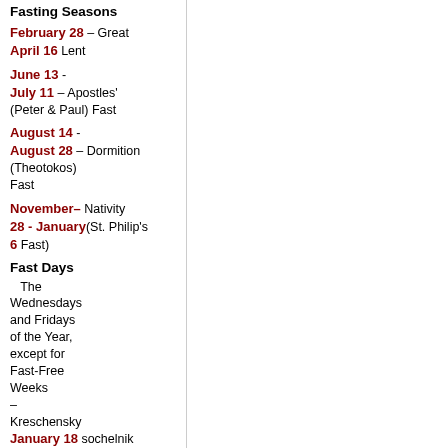Fasting Seasons
February 28 – Great April 16 Lent
June 13 - July 11 – Apostles' (Peter & Paul) Fast
August 14 - August 28 – Dormition (Theotokos) Fast
November 28 - January 6 – Nativity (St. Philip's Fast)
Fast Days
The Wednesdays and Fridays of the Year, except for Fast-Free Weeks
January 18 – Kreschensky sochelnik (The Eve of Theophany)
September 11 – The Beheading of St. John the Baptist
– The